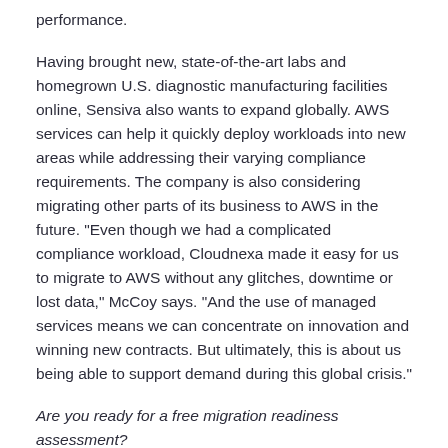performance.
Having brought new, state-of-the-art labs and homegrown U.S. diagnostic manufacturing facilities online, Sensiva also wants to expand globally. AWS services can help it quickly deploy workloads into new areas while addressing their varying compliance requirements. The company is also considering migrating other parts of its business to AWS in the future. "Even though we had a complicated compliance workload, Cloudnexa made it easy for us to migrate to AWS without any glitches, downtime or lost data," McCoy says. "And the use of managed services means we can concentrate on innovation and winning new contracts. But ultimately, this is about us being able to support demand during this global crisis."
Are you ready for a free migration readiness assessment? Contact us — Let's discuss your migration strategy.
About Cloudnexa